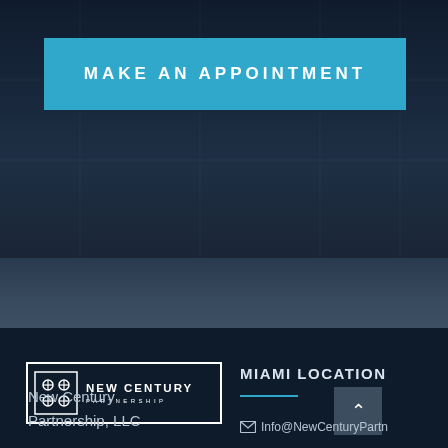[Figure (screenshot): Dark blue background section with faint grid/screen imagery]
MAKE AN APPOINTMENT
[Figure (screenshot): Medium dark blue-grey transitional band]
[Figure (logo): New Century Partnership logo in white on dark navy background]
MIAMI LOCATION
New Century
Partnership, LLC
Info@NewCenturyPartn